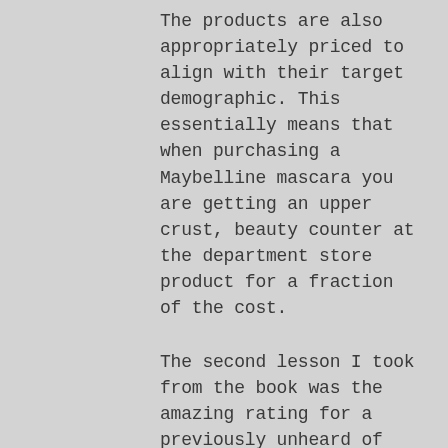The products are also appropriately priced to align with their target demographic. This essentially means that when purchasing a Maybelline mascara you are getting an upper crust, beauty counter at the department store product for a fraction of the cost.
The second lesson I took from the book was the amazing rating for a previously unheard of product (for me) Cetaphil. Cetaphil is an affordable drugstore cleanser. It doesn't have any fancy packaging or marketing (that I am aware of), but this is hands down the best cleanser I have ever used, and I